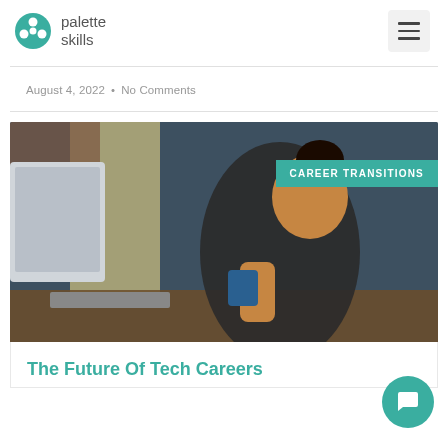[Figure (logo): Palette Skills logo with paint palette icon and text 'palette skills']
August 4, 2022 • No Comments
[Figure (photo): Woman sitting at a computer desk holding a coffee mug, looking at a monitor. Badge overlay reads 'CAREER TRANSITIONS'.]
The Future Of Tech Careers